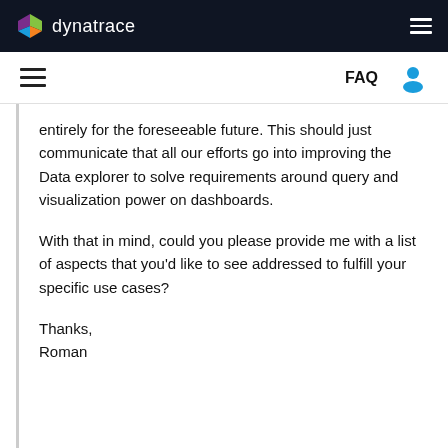dynatrace — navigation header with logo and hamburger menu
Secondary navigation with hamburger menu, FAQ, and user icon
entirely for the foreseeable future. This should just communicate that all our efforts go into improving the Data explorer to solve requirements around query and visualization power on dashboards.
With that in mind, could you please provide me with a list of aspects that you'd like to see addressed to fulfill your specific use cases?
Thanks,
Roman